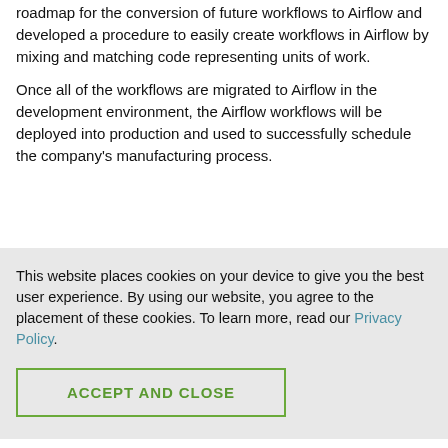roadmap for the conversion of future workflows to Airflow and developed a procedure to easily create workflows in Airflow by mixing and matching code representing units of work.
Once all of the workflows are migrated to Airflow in the development environment, the Airflow workflows will be deployed into production and used to successfully schedule the company's manufacturing process.
This website places cookies on your device to give you the best user experience. By using our website, you agree to the placement of these cookies. To learn more, read our Privacy Policy.
ACCEPT AND CLOSE